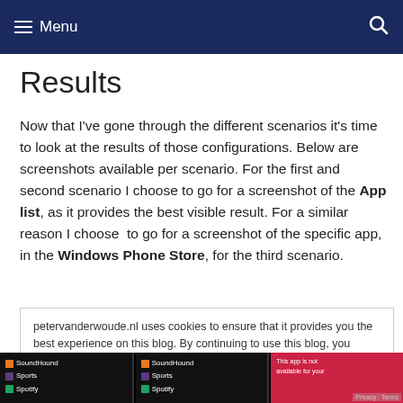Menu
Results
Now that I've gone through the different scenarios it's time to look at the results of those configurations. Below are screenshots available per scenario. For the first and second scenario I choose to go for a screenshot of the App list, as it provides the best visible result. For a similar reason I choose to go for a screenshot of the specific app, in the Windows Phone Store, for the third scenario.
petervanderwoude.nl uses cookies to ensure that it provides you the best experience on this blog. By continuing to use this blog, you agree to their use. To find out more, including how to control cookies, see here: Cookie policy
[Figure (screenshot): Three app store screenshots showing SoundHound, Sports, and Spotify apps in a list view on a dark background]